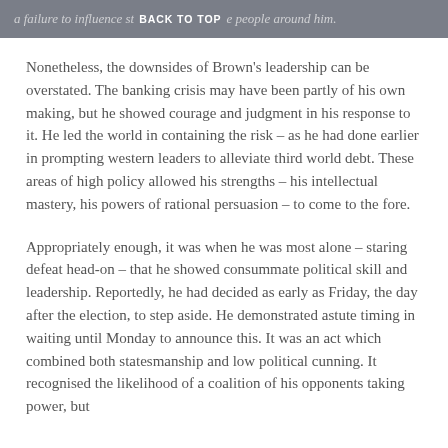a failure to influence st… people around him. BACK TO TOP
Nonetheless, the downsides of Brown's leadership can be overstated. The banking crisis may have been partly of his own making, but he showed courage and judgment in his response to it. He led the world in containing the risk – as he had done earlier in prompting western leaders to alleviate third world debt. These areas of high policy allowed his strengths – his intellectual mastery, his powers of rational persuasion – to come to the fore.
Appropriately enough, it was when he was most alone – staring defeat head-on – that he showed consummate political skill and leadership. Reportedly, he had decided as early as Friday, the day after the election, to step aside. He demonstrated astute timing in waiting until Monday to announce this. It was an act which combined both statesmanship and low political cunning. It recognised the likelihood of a coalition of his opponents taking power, but